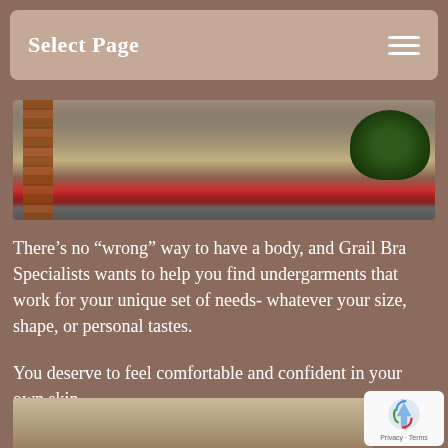Select Page
[Figure (photo): Exterior photo showing a parking lot with a brick column on the left, a paved area, and a green shrub on the right, with a red painted curb at the bottom.]
There’s no “wrong” way to have a body, and Grail Bra Specialists wants to help you find undergarments that work for your unique set of needs- whatever your size, shape, or personal tastes.
You deserve to feel comfortable and confident in your own skin.
[Figure (photo): Interior photo showing clothing hanging on racks inside what appears to be a lingerie or bra specialty store.]